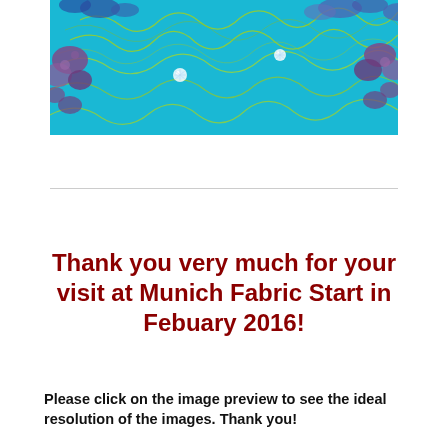[Figure (photo): Close-up photo of turquoise/cyan fabric with embroidered floral and wave patterns in green and gold thread, with rhinestone embellishments, and purple floral details at the edges.]
Thank you very much for your visit at Munich Fabric Start in Febuary 2016!
Please click on the image preview to see the ideal resolution of the images. Thank you!